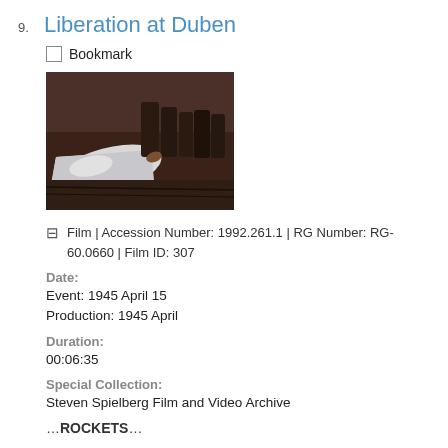9. Liberation at Duben
Bookmark
[Figure (photo): Still image from film showing covered bodies or figures in dark clothing, appears to be a liberation/wartime scene]
Film | Accession Number: 1992.261.1 | RG Number: RG-60.0660 | Film ID: 307
Date:
Event: 1945 April 15
Production: 1945 April
Duration:
00:06:35
Special Collection:
Steven Spielberg Film and Video Archive
…ROCKETS…